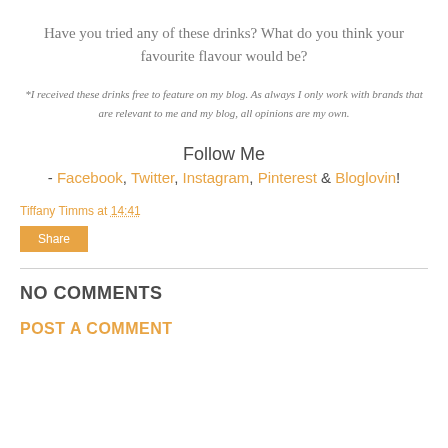Have you tried any of these drinks? What do you think your favourite flavour would be?
*I received these drinks free to feature on my blog. As always I only work with brands that are relevant to me and my blog, all opinions are my own.
Follow Me
- Facebook, Twitter, Instagram, Pinterest & Bloglovin!
Tiffany Timms at 14:41
Share
NO COMMENTS
POST A COMMENT